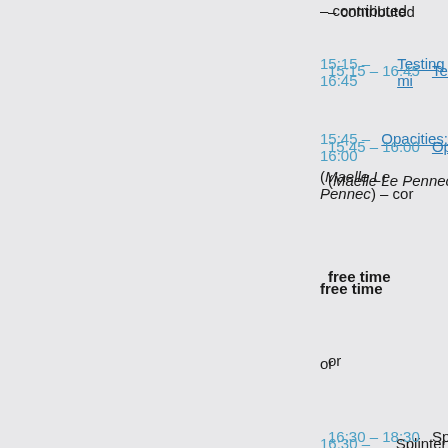– contributed
15:15 – 16:45  Testing mi...
15:45 – 16:00  Opacities: (Maelle Le Pennec) – cor...
free time
or
16:30 – 18:30  Splinter se... Astroseismology, standar... asteroseismology in the e...
20:00 – 22:30  Conference...
Day 4, Thursday, August 22
Session 5. New solutions to ...
Chair:  Juan Carl...